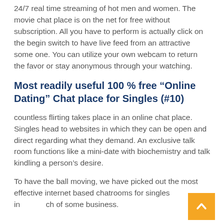24/7 real time streaming of hot men and women. The movie chat place is on the net for free without subscription. All you have to perform is actually click on the begin switch to have live feed from an attractive some one. You can utilize your own webcam to return the favor or stay anonymous through your watching.
Most readily useful 100 % free “Online Dating” Chat place for Singles (#10)
countless flirting takes place in an online chat place. Singles head to websites in which they can be open and direct regarding what they demand. An exclusive talk room functions like a mini-date with biochemistry and talk kindling a person’s desire.
To have the ball moving, we have picked out the most effective internet based chatrooms for singles in search of some business.